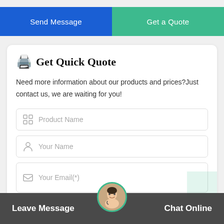[Figure (screenshot): Send Message and Get a Quote navigation buttons at top of page]
🖨️ Get Quick Quote
Need more information about our products and prices?Just contact us, we are waiting for you!
[Figure (screenshot): Product Name form input field with grid icon]
[Figure (screenshot): Your Name form input field with person icon]
[Figure (screenshot): Your Email(*) form input field partially visible]
Leave Message   Chat Online